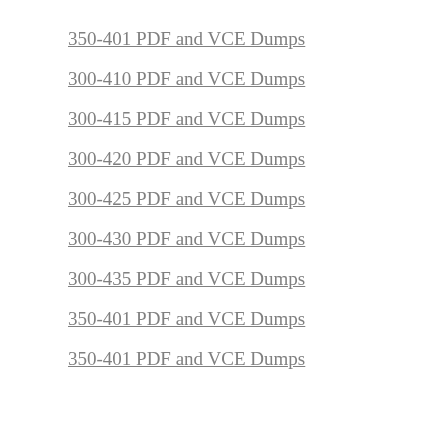350-401 PDF and VCE Dumps
300-410 PDF and VCE Dumps
300-415 PDF and VCE Dumps
300-420 PDF and VCE Dumps
300-425 PDF and VCE Dumps
300-430 PDF and VCE Dumps
300-435 PDF and VCE Dumps
350-401 PDF and VCE Dumps
350-401 PDF and VCE Dumps